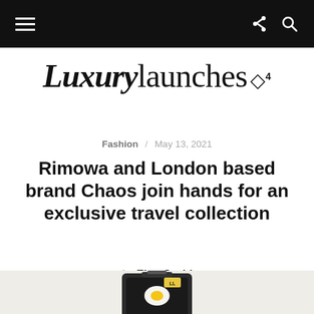Navigation bar with hamburger menu, share and search icons
[Figure (logo): LuxuryLaunches logo with diamond gem icon]
Fashion / May 13, 2021
Rimowa and London based brand Chaos join hands for an exclusive travel collection
by Ekta Joshi
[Figure (photo): Partial product image showing Rimowa x Chaos travel luggage on light beige background]